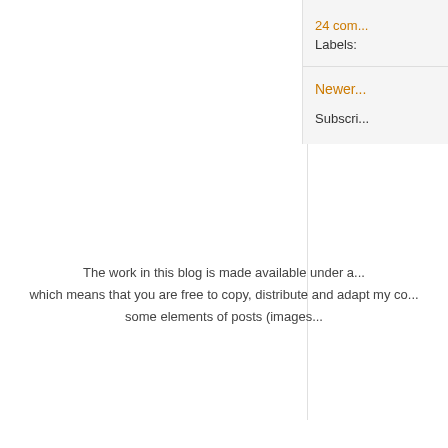24 com...
Labels:
Newer...
Subscri...
The work in this blog is made available under a... which means that you are free to copy, distribute and adapt my co... some elements of posts (images...